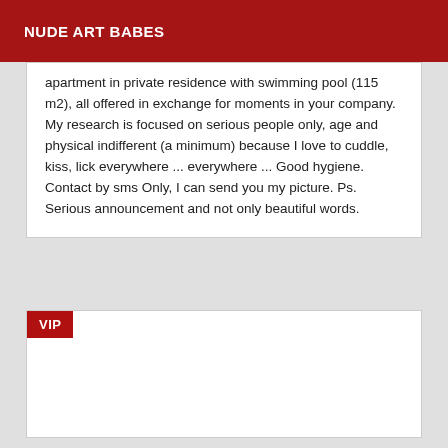NUDE ART BABES
apartment in private residence with swimming pool (115 m2), all offered in exchange for moments in your company. My research is focused on serious people only, age and physical indifferent (a minimum) because I love to cuddle, kiss, lick everywhere ... everywhere ... Good hygiene. Contact by sms Only, I can send you my picture. Ps. Serious announcement and not only beautiful words.
VIP